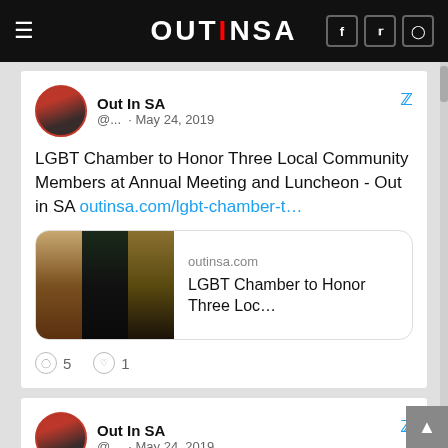OUT IN SA
Out In SA @... · May 24, 2019
LGBT Chamber to Honor Three Local Community Members at Annual Meeting and Luncheon - Out in SA outinsa.com/lgbt-chamber-t…
[Figure (screenshot): Link preview card showing outinsa.com with image of three people and text: LGBT Chamber to Honor Three Loc…]
○ 5   ♡ 1
Out In SA @... · May 24, 2019
New Trump Health Care Rule Will Harm 1.5 Million Trans People